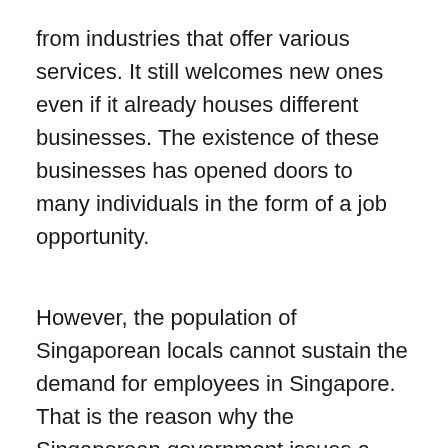from industries that offer various services. It still welcomes new ones even if it already houses different businesses. The existence of these businesses has opened doors to many individuals in the form of a job opportunity.
However, the population of Singaporean locals cannot sustain the demand for employees in Singapore. That is the reason why the Singaporean government issues a work visa to individuals. A work visa will serve as proof that you are legally hired and working in the Singaporean market.
There many types of visas like the employment pass Singapore permit. The work visa that you will be applying for